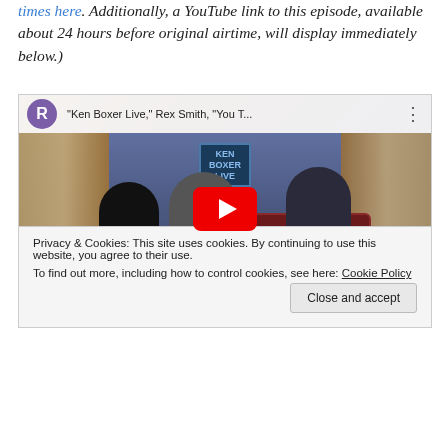times here. Additionally, a YouTube link to this episode, available about 24 hours before original airtime, will display immediately below.)
[Figure (screenshot): YouTube video thumbnail showing 'Ken Boxer Live,' Rex Smith, 'You T...' with three people seated in a talk-show set. A red play button overlay is visible in the center.]
Privacy & Cookies: This site uses cookies. By continuing to use this website, you agree to their use.
To find out more, including how to control cookies, see here: Cookie Policy